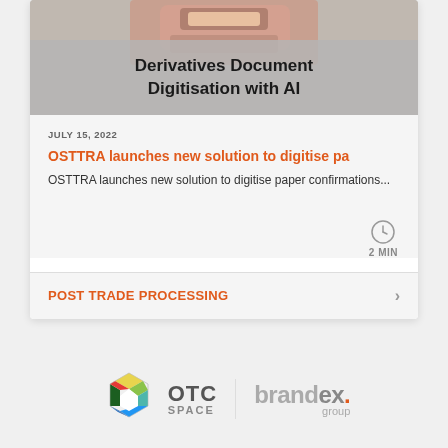[Figure (photo): Card with image of a robot/device at top, overlaid with title text 'Derivatives Document Digitisation with AI']
Derivatives Document Digitisation with AI
JULY 15, 2022
OSTTRA launches new solution to digitise pa
OSTTRA launches new solution to digitise paper confirmations...
2 MIN
POST TRADE PROCESSING
[Figure (logo): OTC SPACE logo — hexagonal colorful icon with text 'OTC SPACE']
[Figure (logo): Brandex group logo — text 'brandex.' with orange dot, 'group' below]